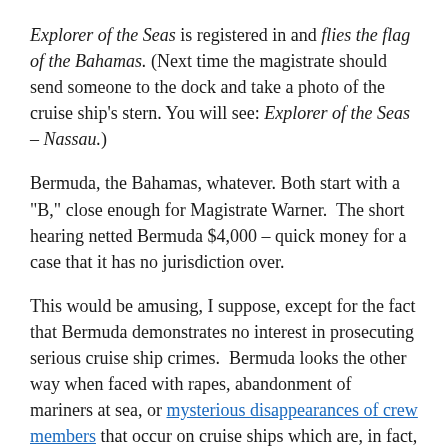Explorer of the Seas is registered in and flies the flag of the Bahamas. (Next time the magistrate should send someone to the dock and take a photo of the cruise ship's stern. You will see: Explorer of the Seas – Nassau.)
Bermuda, the Bahamas, whatever. Both start with a "B," close enough for Magistrate Warner. The short hearing netted Bermuda $4,000 – quick money for a case that it has no jurisdiction over.
This would be amusing, I suppose, except for the fact that Bermuda demonstrates no interest in prosecuting serious cruise ship crimes. Bermuda looks the other way when faced with rapes, abandonment of mariners at sea, or mysterious disappearances of crew members that occur on cruise ships which are, in fact, flying the maritime flag of Bermuda.